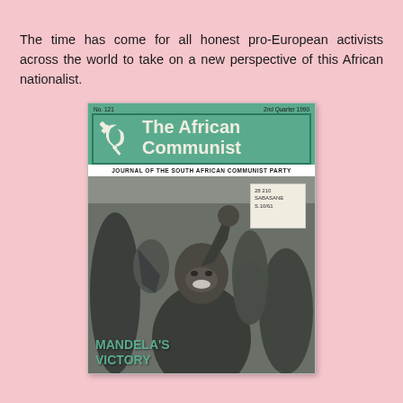The time has come for all honest pro-European activists across the world to take on a new perspective of this African nationalist.
[Figure (photo): Magazine cover of 'The African Communist', No. 121, 2nd Quarter 1990, Journal of the South African Communist Party. Features a black and white photograph of Nelson Mandela raising his fist, smiling, surrounded by crowd. Bottom text reads 'MANDELA'S VICTORY'. A handwritten sticker label is visible in the upper right of the photo.]